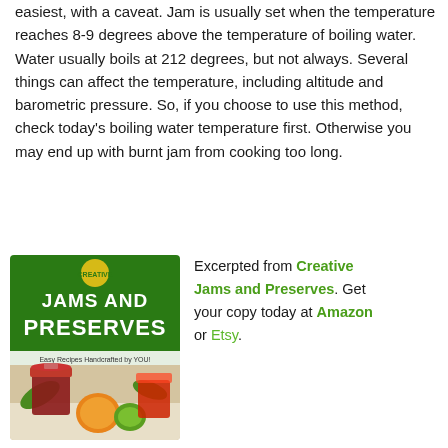easiest, with a caveat. Jam is usually set when the temperature reaches 8-9 degrees above the temperature of boiling water. Water usually boils at 212 degrees, but not always. Several things can affect the temperature, including altitude and barometric pressure. So, if you choose to use this method, check today's boiling water temperature first. Otherwise you may end up with burnt jam from cooking too long.
[Figure (illustration): Book cover for 'Jams and Preserves - Easy Recipes Handcrafted by YOU!' showing jars of jam with fruit on a green background]
Excerpted from Creative Jams and Preserves. Get your copy today at Amazon or Etsy.